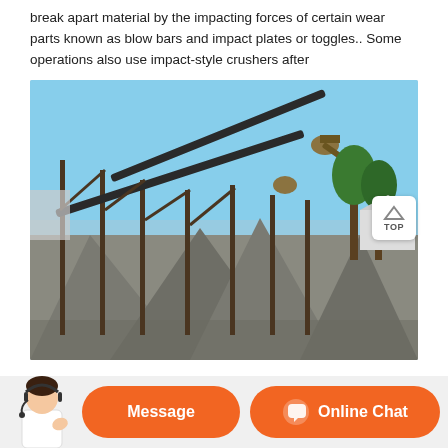break apart material by the impacting forces of certain wear parts known as blow bars and impact plates or toggles.. Some operations also use impact-style crushers after
[Figure (photo): Outdoor industrial aggregate processing site showing inclined conveyor belts mounted on steel frames, with large piles of crushed gravel/stone below, trees and buildings in the background under a clear blue sky.]